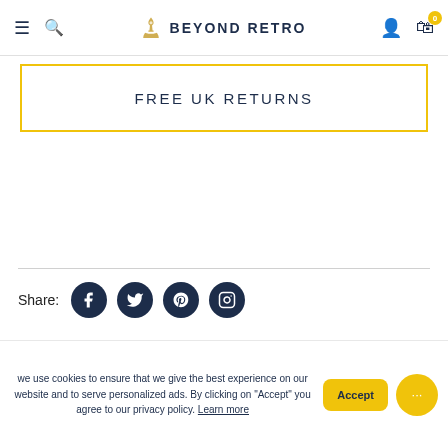Beyond Retro
FREE UK RETURNS
Share:
MORE  DELIVERY  RETURNS  CONDITION
we use cookies to ensure that we give the best experience on our website and to serve personalized ads. By clicking on "Accept" you agree to our privacy policy. Learn more